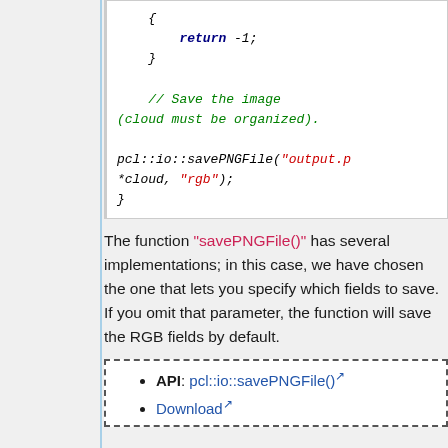[Figure (screenshot): Code block showing C++ return statement, closing brace, a comment '// Save the image (cloud must be organized).', and pcl::io::savePNGFile call with 'output.p...' filename, *cloud, 'rgb' arguments, and closing brace.]
The function "savePNGFile()" has several implementations; in this case, we have chosen the one that lets you specify which fields to save. If you omit that parameter, the function will save the RGB fields by default.
API: pcl::io::savePNGFile()
Download